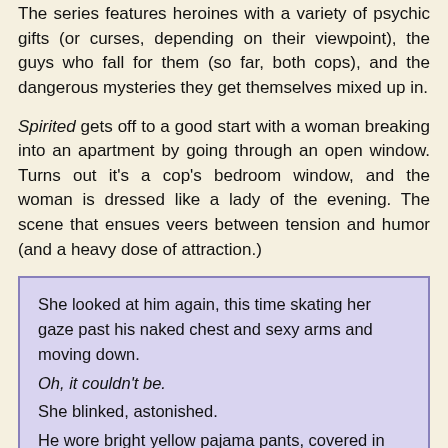The series features heroines with a variety of psychic gifts (or curses, depending on their viewpoint), the guys who fall for them (so far, both cops), and the dangerous mysteries they get themselves mixed up in.
Spirited gets off to a good start with a woman breaking into an apartment by going through an open window. Turns out it's a cop's bedroom window, and the woman is dressed like a lady of the evening. The scene that ensues veers between tension and humor (and a heavy dose of attraction.)
She looked at him again, this time skating her gaze past his naked chest and sexy arms and moving down.
Oh, it couldn't be.
She blinked, astonished.
He wore bright yellow pajama pants, covered in lambs.
I have to say, that image just cracked me up!
Of course, Jules isn't what Seth mistakes her for, but once they